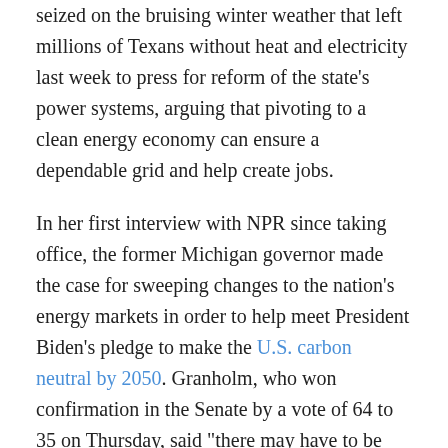seized on the bruising winter weather that left millions of Texans without heat and electricity last week to press for reform of the state's power systems, arguing that pivoting to a clean energy economy can ensure a dependable grid and help create jobs.
In her first interview with NPR since taking office, the former Michigan governor made the case for sweeping changes to the nation's energy markets in order to help meet President Biden's pledge to make the U.S. carbon neutral by 2050. Granholm, who won confirmation in the Senate by a vote of 64 to 35 on Thursday, said "there may have to be public-private partnerships to get initiatives off the ground," and pledged that for any jobs lost in the fossil fuel industry, there would be "more than a one-to-one replacement" in clean energy.